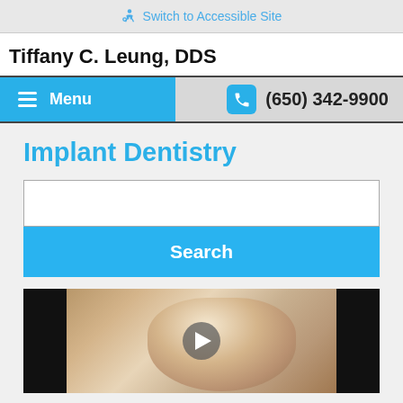Switch to Accessible Site
Tiffany C. Leung, DDS
Menu    (650) 342-9900
Implant Dentistry
Search
[Figure (photo): Middle-aged smiling man holding a glass of wine, used as a dental practice video thumbnail with a play button overlay]